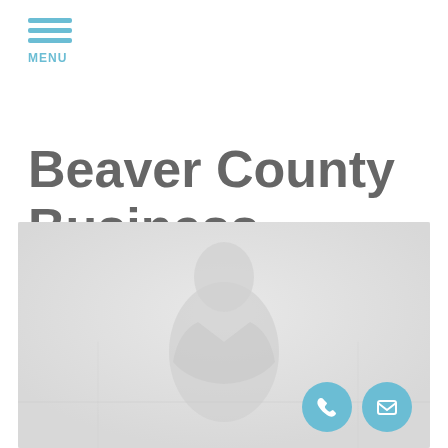MENU
Beaver County Business Owner Divorce Attorney
[Figure (photo): Faded background photo of a person (attorney) in a professional setting, shown in light gray tones as a silhouette/watermark style image at the bottom half of the page. Two contact icons (phone and email) appear at bottom right.]